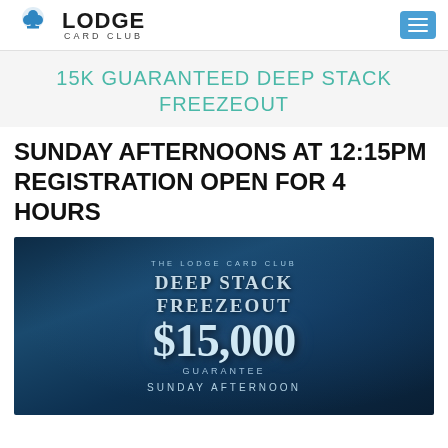Lodge Card Club
15K GUARANTEED DEEP STACK FREEZEOUT
SUNDAY AFTERNOONS AT 12:15PM REGISTRATION OPEN FOR 4 HOURS
[Figure (illustration): Promotional banner for The Lodge Card Club Deep Stack Freezeout showing $15,000 guarantee on a dark blue background with text 'THE LODGE CARD CLUB', 'DEEP STACK FREEZEOUT', '$15,000', 'GUARANTEE', 'SUNDAY AFTERNOON']